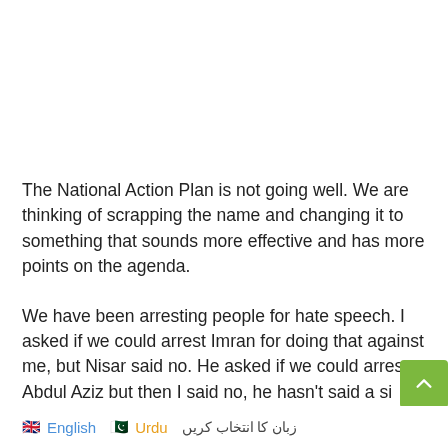The National Action Plan is not going well. We are thinking of scrapping the name and changing it to something that sounds more effective and has more points on the agenda.
We have been arresting people for hate speech. I asked if we could arrest Imran for doing that against me, but Nisar said no. He asked if we could arrest Abdul Aziz but then I said no, he hasn't said a si…